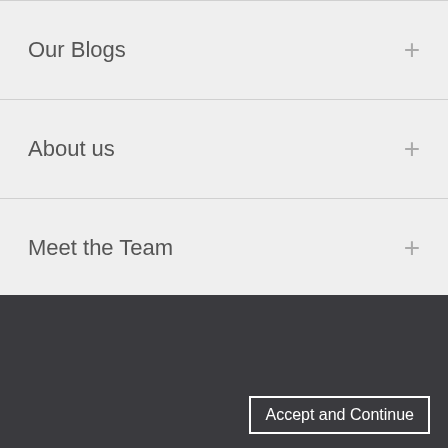Our Blogs
About us
Meet the Team
We use cookies on this website to make your browsing experience better. By continuing to use this website, you agree to our cookie policy.
Accept and Continue